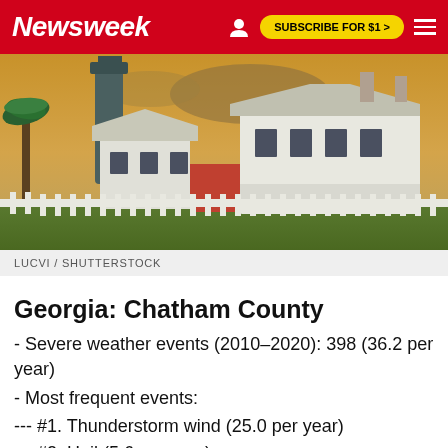Newsweek  SUBSCRIBE FOR $1 >
[Figure (photo): Exterior view of a historic white house complex with a lighthouse in the background under a dramatic golden sky, white picket fence in foreground, palm trees on left]
LUCVI / SHUTTERSTOCK
Georgia: Chatham County
- Severe weather events (2010–2020): 398 (36.2 per year)
- Most frequent events:
--- #1. Thunderstorm wind (25.0 per year)
--- #2. Hail (5.6 per year)